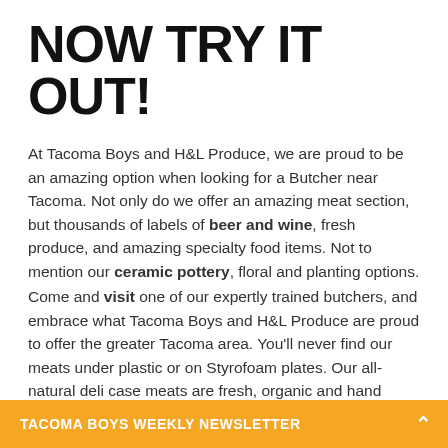NOW TRY IT OUT!
At Tacoma Boys and H&L Produce, we are proud to be an amazing option when looking for a Butcher near Tacoma. Not only do we offer an amazing meat section, but thousands of labels of beer and wine, fresh produce, and amazing specialty food items. Not to mention our ceramic pottery, floral and planting options.
Come and visit one of our expertly trained butchers, and embrace what Tacoma Boys and H&L Produce are proud to offer the greater Tacoma area. You'll never find our meats under plastic or on Styrofoam plates. Our all-natural deli case meats are fresh, organic and hand wrapped, just like in the old days.
Read Next: 5 Easy Meals You Can Make in Minutes
TACOMA BOYS WEEKLY NEWSLETTER